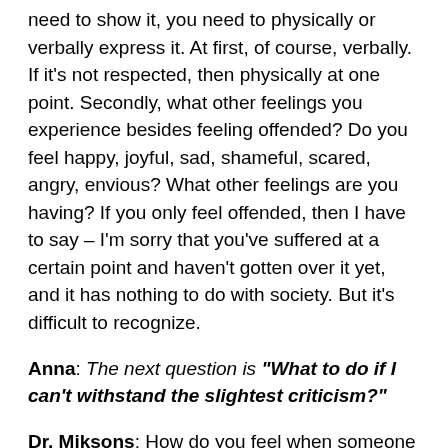need to show it, you need to physically or verbally express it. At first, of course, verbally. If it's not respected, then physically at one point. Secondly, what other feelings you experience besides feeling offended? Do you feel happy, joyful, sad, shameful, scared, angry, envious? What other feelings are you having? If you only feel offended, then I have to say – I'm sorry that you've suffered at a certain point and haven't gotten over it yet, and it has nothing to do with society. But it's difficult to recognize.
Anna: The next question is "What to do if I can't withstand the slightest criticism?"
Dr. Miksons: How do you feel when someone criticizes you? What do you mean by "can't